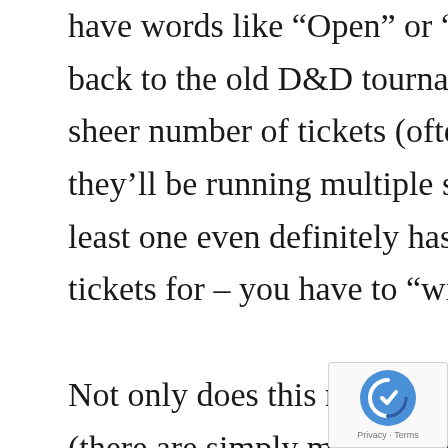have words like “Open” or “Invitational” in them, that harken back to the old D&D tournaments of the late 70’s.  Also, the sheer number of tickets (often in the 20-50 range) suggests that they’ll be running multiple separate tables of these games.  At least one even definitely has a second round that you can’t buy tickets for – you have to “win” the earlier round to get in.
Not only does this make it a little easier to get into those games (there are simply more tickets), but the idea of playing anything that replicates an old style tournament really gets me